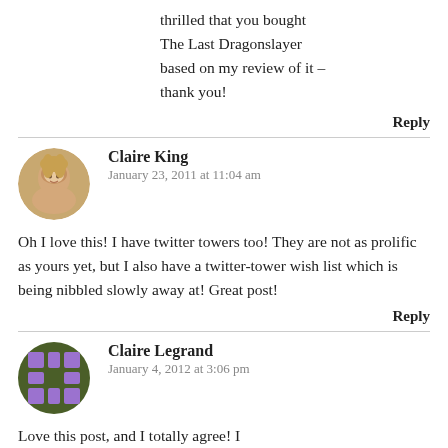thrilled that you bought The Last Dragonslayer based on my review of it – thank you!
Reply
Claire King
January 23, 2011 at 11:04 am
Oh I love this! I have twitter towers too! They are not as prolific as yours yet, but I also have a twitter-tower wish list which is being nibbled slowly away at! Great post!
Reply
Claire Legrand
January 4, 2012 at 3:06 pm
Love this post, and I totally agree! I